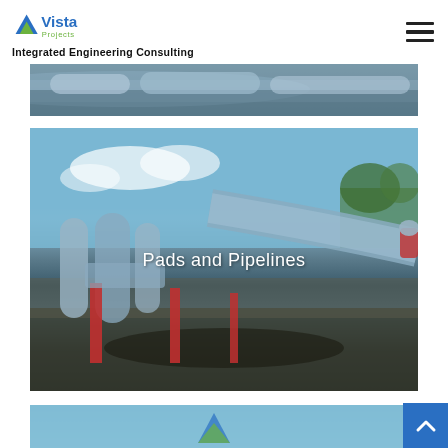Vista Projects — Integrated Engineering Consulting
[Figure (photo): Partial view of industrial pipelines, top portion cropped]
[Figure (photo): Outdoor pipeline facility with large pipes on red supports against a blue sky with trees in background. Center label reads 'Pads and Pipelines']
[Figure (photo): Bottom partial image, blue sky with partial Vista logo visible at bottom]